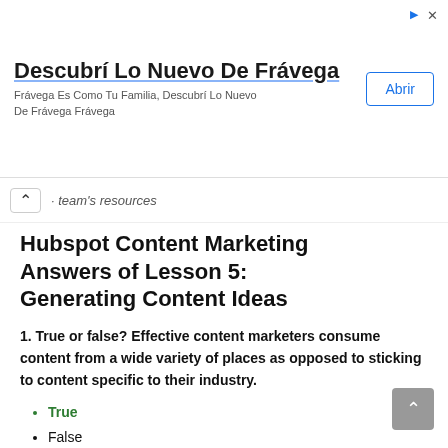[Figure (other): Advertisement banner for Frávega with title 'Descubrí Lo Nuevo De Frávega', subtitle 'Frávega Es Como Tu Familia, Descubrí Lo Nuevo De Frávega Frávega', and an 'Abrir' button]
team's resources
Hubspot Content Marketing Answers of Lesson 5: Generating Content Ideas
1. True or false? Effective content marketers consume content from a wide variety of places as opposed to sticking to content specific to their industry.
True
False